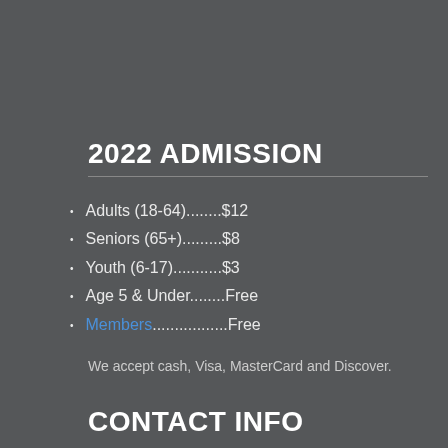2022 ADMISSION
Adults (18-64)........$12
Seniors (65+).........$8
Youth (6-17)..........$3
Age 5 & Under........Free
Members.................Free
We accept cash, Visa, MasterCard and Discover.
CONTACT INFO